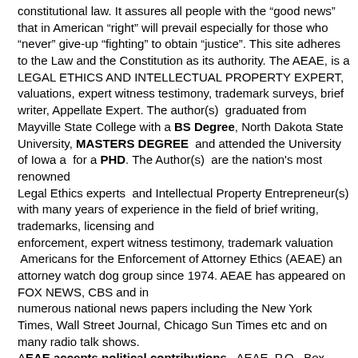constitutional law. It assures all people with the “good news” that in American “right” will prevail especially for those who “never” give-up “fighting” to obtain “justice”. This site adheres to the Law and the Constitution as its authority. The AEAE, is a LEGAL ETHICS AND INTELLECTUAL PROPERTY EXPERT, valuations, expert witness testimony, trademark surveys, brief writer, Appellate Expert. The author(s) graduated from Mayville State College with a BS Degree, North Dakota State University, MASTERS DEGREE and attended the University of Iowa a for a PHD. The Author(s) are the nation's most renowned Legal Ethics experts and Intellectual Property Entrepreneur(s) with many years of experience in the field of brief writing, trademarks, licensing and enforcement, expert witness testimony, trademark valuation Americans for the Enforcement of Attorney Ethics (AEAE) an attorney watch dog group since 1974. AEAE has appeared on FOX NEWS, CBS and in numerous national news papers including the New York Times, Wall Street Journal, Chicago Sun Times etc and on many radio talk shows. AEAE accepts political contributions. AEAE, P.O. Box 60645, Chicago, Illinois 60660. Email ldma4@hotmail.com